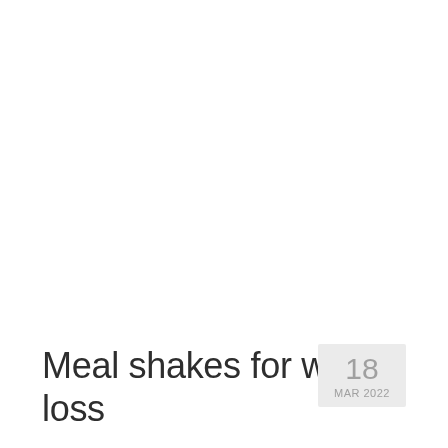Meal shakes for weight loss
18 MAR 2022